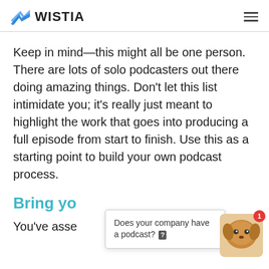WISTIA
Keep in mind—this might all be one person. There are lots of solo podcasters out there doing amazing things. Don't let this list intimidate you; it's really just meant to highlight the work that goes into producing a full episode from start to finish. Use this as a starting point to build your own podcast process.
Bring yo...
You've asse...s a
[Figure (other): Popup tooltip asking 'Does your company have a podcast?' with a close button and a dog avatar with a red notification badge showing 1]